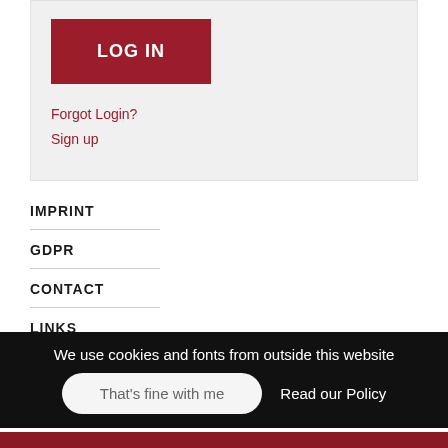[Figure (screenshot): LOG IN button — dark red rectangle with white bold uppercase text]
Forgot Login?
Sign up
IMPRINT
GDPR
CONTACT
LINKS
© 2000 - 2022 Nathaniel Parker Official Homepage.
We use cookies and fonts from outside this website
That's fine with me
Read our Policy